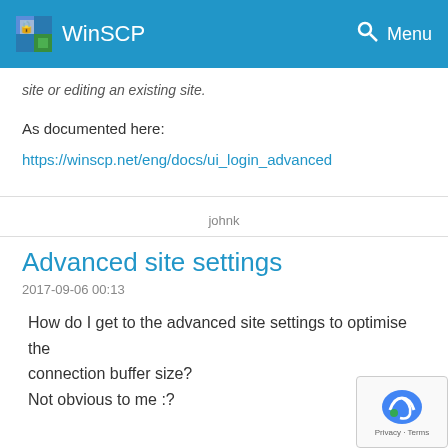WinSCP  Menu
site or editing an existing site.
As documented here:
https://winscp.net/eng/docs/ui_login_advanced
johnk
Advanced site settings
2017-09-06 00:13
How do I get to the advanced site settings to optimise the connection buffer size?
Not obvious to me :?